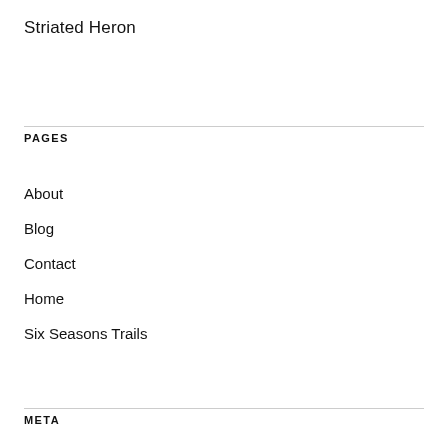Striated Heron
PAGES
About
Blog
Contact
Home
Six Seasons Trails
META